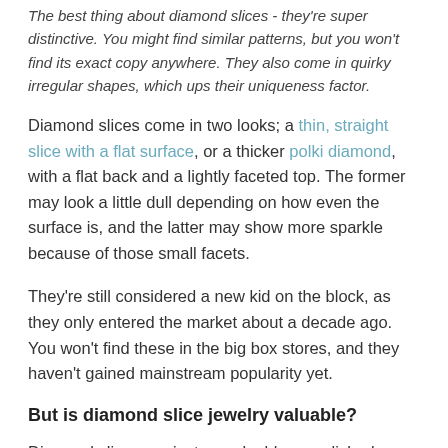The best thing about diamond slices - they're super distinctive. You might find similar patterns, but you won't find its exact copy anywhere. They also come in quirky irregular shapes, which ups their uniqueness factor.
Diamond slices come in two looks; a thin, straight slice with a flat surface, or a thicker polki diamond, with a flat back and a lightly faceted top. The former may look a little dull depending on how even the surface is, and the latter may show more sparkle because of those small facets.
They're still considered a new kid on the block, as they only entered the market about a decade ago. You won't find these in the big box stores, and they haven't gained mainstream popularity yet.
But is diamond slice jewelry valuable?
Diamond slices are just as valuable as polished